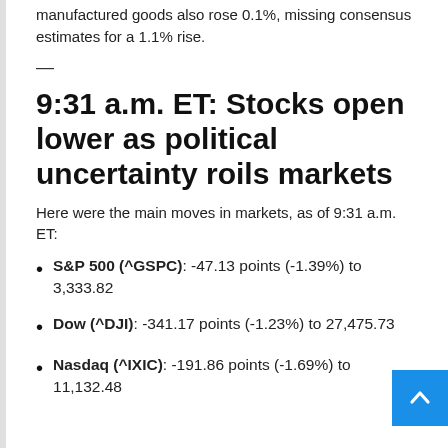manufactured goods also rose 0.1%, missing consensus estimates for a 1.1% rise.
—
9:31 a.m. ET: Stocks open lower as political uncertainty roils markets
Here were the main moves in markets, as of 9:31 a.m. ET:
S&P 500 (^GSPC): -47.13 points (-1.39%) to 3,333.82
Dow (^DJI): -341.17 points (-1.23%) to 27,475.73
Nasdaq (^IXIC): -191.86 points (-1.69%) to 11,132.48